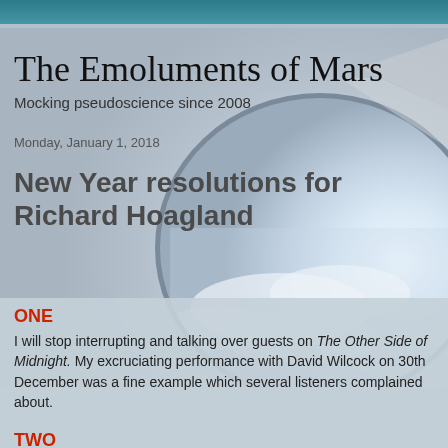The Emoluments of Mars
Mocking pseudoscience since 2008
Monday, January 1, 2018
New Year resolutions for Richard Hoagland
ONE
I will stop interrupting and talking over guests on The Other Side of Midnight. My excruciating performance with David Wilcock on 30th December was a fine example which several listeners complained about.
TWO
I will complete publication of my  book The Hidden History of Mars: A War In Heaven. Last March I announced it as "just